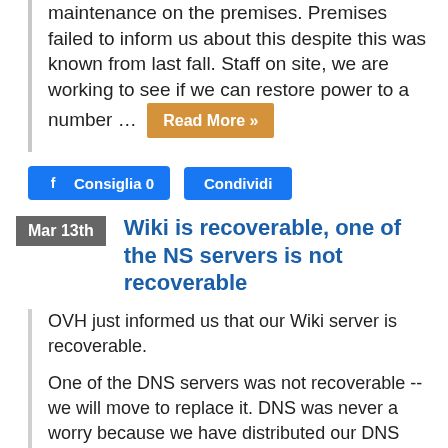maintenance on the premises. Premises failed to inform us about this despite this was known from last fall. Staff on site, we are working to see if we can restore power to a number … Read More »
Consiglia 0
Condividi
Mar 13th  Wiki is recoverable, one of the NS servers is not recoverable
OVH just informed us that our Wiki server is recoverable.
One of the DNS servers was not recoverable -- we will move to replace it. DNS was never a worry because we have distributed our DNS over many providers.